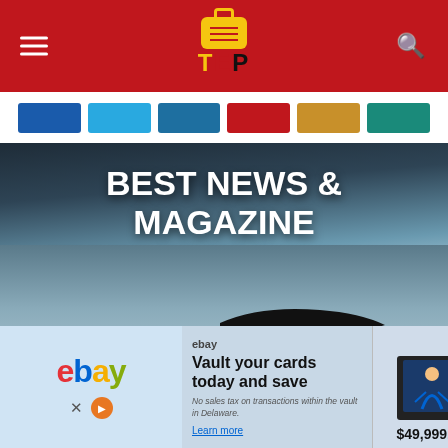[Figure (screenshot): Website header with red background, TEP logo (briefcase icon with TEP text in yellow/red/dark), hamburger menu icon on left, search icon on right]
[Figure (screenshot): Navigation bar with colored category buttons: blue, light blue, dark blue, red, gold/yellow, teal]
[Figure (screenshot): Hero banner overlay text reading 'BEST NEWS & MAGAZINE WORDPRESS THEME' in bold white over a dark blue-gray gradient background]
[Figure (photo): Red Formula 1 style speedboat numbered 48 with ADAC branding racing across water at high speed, blurred motion background]
[Figure (screenshot): eBay advertisement banner: left section shows large eBay logo in multicolor on light blue background with X and play button icons; middle section shows 'Vault your cards today and save' headline with small body text 'No sales tax on transactions within the vault in Delaware.' and 'Learn more' link; right sections show two trading card images with prices $49,999.99 and $4,000]